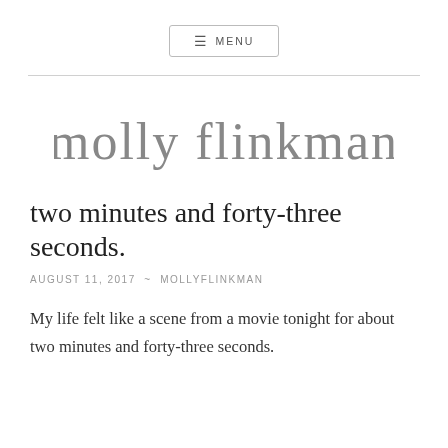≡ MENU
[Figure (logo): Handwritten cursive signature logo reading 'molly flinkman' in grey script]
two minutes and forty-three seconds.
AUGUST 11, 2017  ~  MOLLYFLINKMAN
My life felt like a scene from a movie tonight for about two minutes and forty-three seconds.